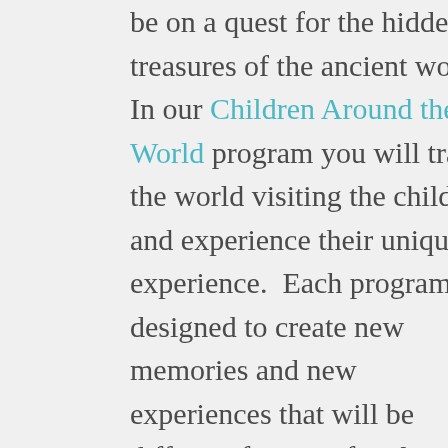be on a quest for the hidden treasures of the ancient world. In our Children Around the World program you will travel the world visiting the children and experience their unique experience.  Each program is designed to create new memories and new experiences that will be different for your family each year you are with us.
Our Themed Programs are designed to be appropriate for multiple age groups. This has a two-fold purpose: 1) You can customize which programs you do each year in which